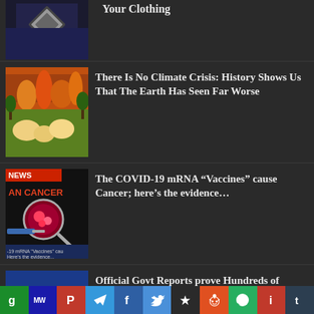[Figure (screenshot): Partial article thumbnail showing dark clothing with a diamond-shaped logo]
Your Clothing
[Figure (screenshot): Article thumbnail showing a medieval painting with fire and figures]
There Is No Climate Crisis: History Shows Us That The Earth Has Seen Far Worse
[Figure (screenshot): News thumbnail with text 'AN CANCER' and '-19 mRNA Vaccines cause Here's the evidence...' showing a magnifying glass over a medical image]
The COVID-19 mRNA “Vaccines” cause Cancer; here’s the evidence…
[Figure (screenshot): News thumbnail showing Pfizer logo with syringe and text 'overnment Reports prove h, usands of People are dying, week due to Covid-19 Vacc...']
Official Govt Reports prove Hundreds of Thousands of People are dying every single week due to Covid-19 Vaccination
[Figure (screenshot): Social media sharing toolbar with icons for various platforms: g, MW, P, Telegram, Facebook, Twitter, star, Reddit, WhatsApp, i, Tumblr]